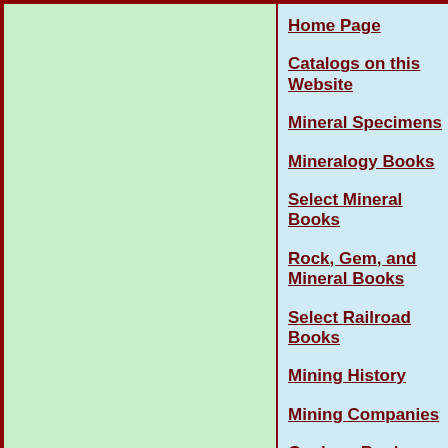Home Page
Catalogs on this Website
Mineral Specimens
Mineralogy Books
Select Mineral Books
Rock, Gem, and Mineral Books
Select Railroad Books
Mining History
Mining Companies
Geology Books
U.S. State Geology